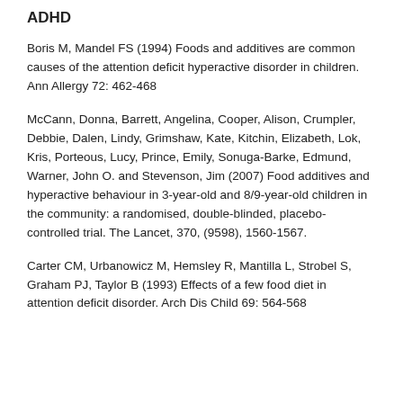ADHD
Boris M, Mandel FS (1994) Foods and additives are common causes of the attention deficit hyperactive disorder in children. Ann Allergy 72: 462-468
McCann, Donna, Barrett, Angelina, Cooper, Alison, Crumpler, Debbie, Dalen, Lindy, Grimshaw, Kate, Kitchin, Elizabeth, Lok, Kris, Porteous, Lucy, Prince, Emily, Sonuga-Barke, Edmund, Warner, John O. and Stevenson, Jim (2007) Food additives and hyperactive behaviour in 3-year-old and 8/9-year-old children in the community: a randomised, double-blinded, placebo-controlled trial. The Lancet, 370, (9598), 1560-1567.
Carter CM, Urbanowicz M, Hemsley R, Mantilla L, Strobel S, Graham PJ, Taylor B (1993) Effects of a few food diet in attention deficit disorder. Arch Dis Child 69: 564-568